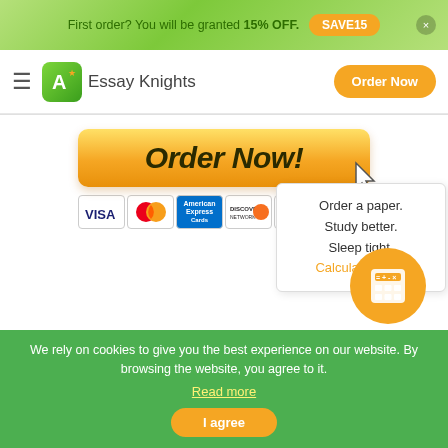First order? You will be granted 15% OFF.  SAVE15
[Figure (logo): Essay Knights logo with green A icon and orange Order Now button in navigation bar]
[Figure (screenshot): Orange Order Now! button with cursor icon and payment method icons (VISA, MasterCard, American Express, Discover, PayPal, 100% Secure)]
Order a paper. Study better. Sleep tight. Calculate Price!
We rely on cookies to give you the best experience on our website. By browsing the website, you agree to it. Read more
I agree